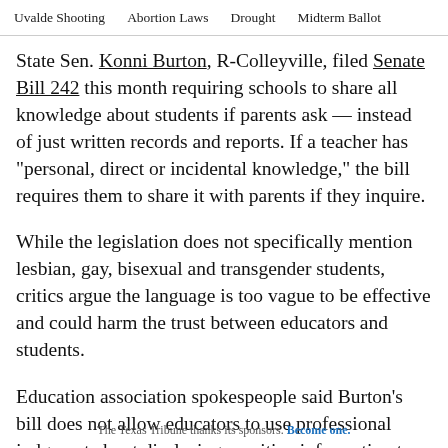Uvalde Shooting   Abortion Laws   Drought   Midterm Ballot
State Sen. Konni Burton, R-Colleyville, filed Senate Bill 242 this month requiring schools to share all knowledge about students if parents ask — instead of just written records and reports. If a teacher has "personal, direct or incidental knowledge," the bill requires them to share it with parents if they inquire.
While the legislation does not specifically mention lesbian, gay, bisexual and transgender students, critics argue the language is too vague to be effective and could harm the trust between educators and students.
Education association spokespeople said Burton's bill does not allow educators to use professional judgment about disclosing sensitive information to parents.
The Texas Tribune thanks its sponsors. Become one.